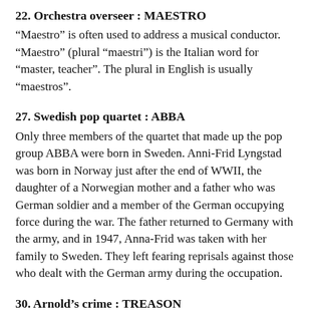22. Orchestra overseer : MAESTRO
“Maestro” is often used to address a musical conductor. “Maestro” (plural “maestri”) is the Italian word for “master, teacher”. The plural in English is usually “maestros”.
27. Swedish pop quartet : ABBA
Only three members of the quartet that made up the pop group ABBA were born in Sweden. Anni-Frid Lyngstad was born in Norway just after the end of WWII, the daughter of a Norwegian mother and a father who was German soldier and a member of the German occupying force during the war. The father returned to Germany with the army, and in 1947, Anna-Frid was taken with her family to Sweden. They left fearing reprisals against those who dealt with the German army during the occupation.
30. Arnold’s crime : TREASON
Treason is a serious crime committed against the nation (or the sovereign). One who commits “treason” is called a